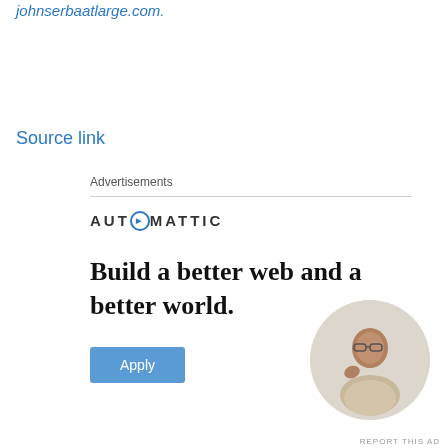johnserbaatlarge.com.
Source link
Advertisements
[Figure (illustration): Automattic advertisement banner with logo, headline 'Build a better web and a better world.', an Apply button, and a circular photo of a person thinking.]
REPORT THIS AD